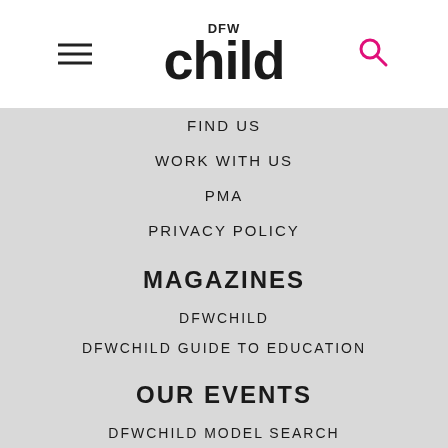[Figure (logo): DFW Child magazine logo with hamburger menu icon on left and search icon on right]
FIND US
WORK WITH US
PMA
PRIVACY POLICY
MAGAZINES
DFWCHILD
DFWCHILD GUIDE TO EDUCATION
OUR EVENTS
DFWCHILD MODEL SEARCH